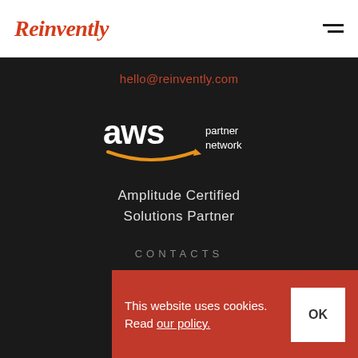Reinvently
hello@reinvently.com
[Figure (logo): AWS Partner Network badge with orange smile arrow]
Amplitude Certified Solutions Partner
CONTACTS
125 U...
Palo Alto, CA 94301
This website uses cookies. Read our policy.